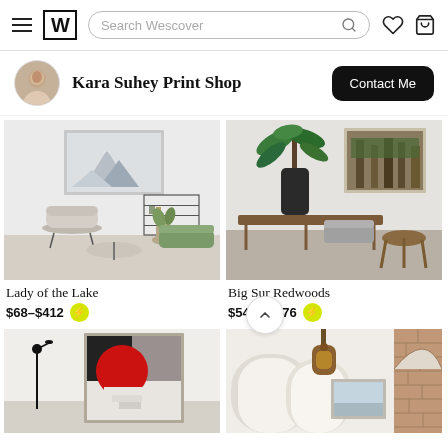Wescover — Search bar, wishlist, and cart icons
Kara Suhey Print Shop
Contact Me
[Figure (photo): Interior room with framed mountain landscape print, light grey accent chair, shelving unit, round coffee table, and potted plants — product: Lady of the Lake]
[Figure (photo): Interior with large potted tropical plant on wooden console table, framed forest/nature print on wall, grey seating and wooden stools — product: Big Sur Redwoods]
Lady of the Lake
$68–$412
Big Sur Redwoods
$54–$1,076
[Figure (photo): Interior with black floor lamp and large abstract art print showing geometric shapes in black, grey and red with white staircase forms]
[Figure (photo): Interior hallway with arched ceilings, hanging lantern light fixture, framed beach/ocean print, and decorative brick wall visible]